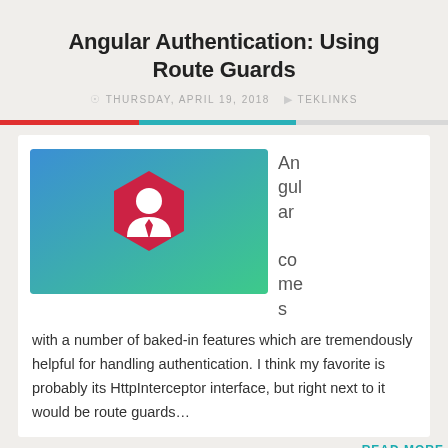Angular Authentication: Using Route Guards
THURSDAY, APRIL 19, 2018  TEKLINKS
[Figure (illustration): Blue-to-green gradient background with a red hexagon shield icon containing a white silhouette of a person in a suit (Angular guardian icon)]
Angular comes with a number of baked-in features which are tremendously helpful for handling authentication. I think my favorite is probably its HttpInterceptor interface, but right next to it would be route guards...
READ MORE